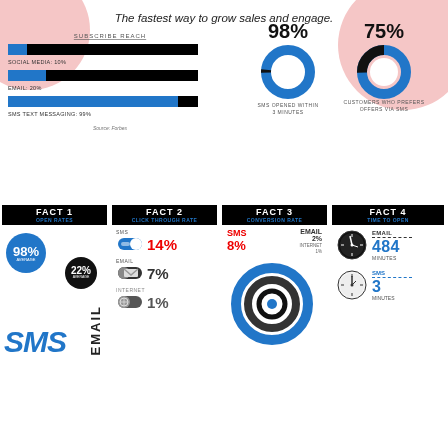The fastest way to grow sales and engage.
[Figure (bar-chart): Subscribe Reach]
[Figure (donut-chart): SMS Opened Within 3 Minutes]
[Figure (donut-chart): Customers Who Prefers Offers Via SMS]
[Figure (infographic): Fact 1 Open Rates: SMS 98% average, Email 22% average]
[Figure (bar-chart): Fact 2 Click Through Rate]
[Figure (donut-chart): Fact 3 Conversion Rate]
[Figure (infographic): Fact 4 Time to Open: Email 484 minutes, SMS 3 minutes]